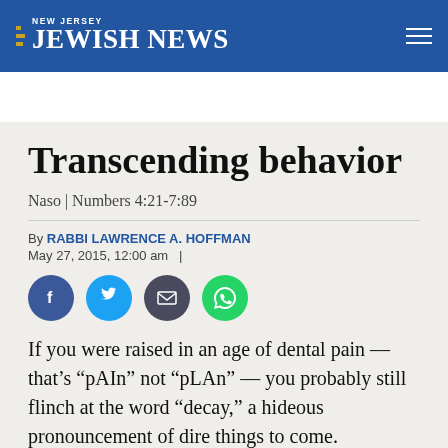NEW JERSEY JEWISH NEWS
Transcending behavior
Naso | Numbers 4:21-7:89
By RABBI LAWRENCE A. HOFFMAN
May 27, 2015, 12:00 am  |
[Figure (infographic): Four social media share buttons: Facebook (dark blue circle with f icon), Twitter (light blue circle with bird icon), Email (dark circle with envelope icon), WhatsApp (green circle with phone icon)]
If you were raised in an age of dental pain — that’s “pAIn” not “pLAn” — you probably still flinch at the word “decay,” a hideous pronouncement of dire things to come.